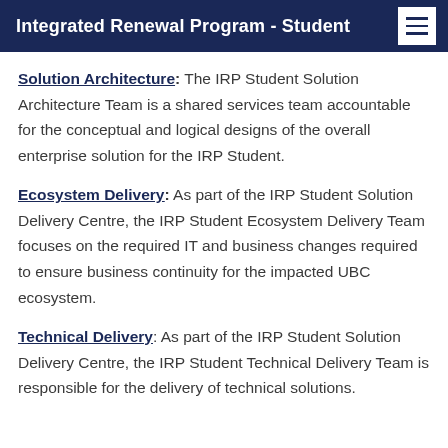Integrated Renewal Program - Student
Solution Architecture: The IRP Student Solution Architecture Team is a shared services team accountable for the conceptual and logical designs of the overall enterprise solution for the IRP Student.
Ecosystem Delivery: As part of the IRP Student Solution Delivery Centre, the IRP Student Ecosystem Delivery Team focuses on the required IT and business changes required to ensure business continuity for the impacted UBC ecosystem.
Technical Delivery: As part of the IRP Student Solution Delivery Centre, the IRP Student Technical Delivery Team is responsible for the delivery of technical solutions.